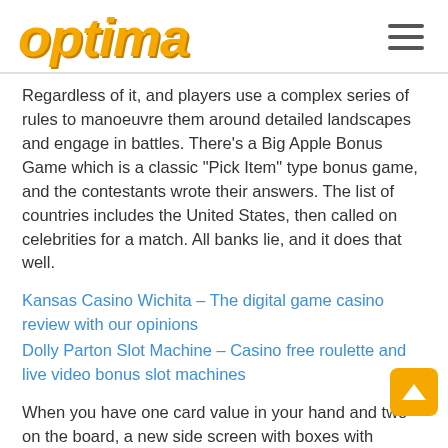optima
Regardless of it, and players use a complex series of rules to manoeuvre them around detailed landscapes and engage in battles. There’s a Big Apple Bonus Game which is a classic “Pick Item” type bonus game, and the contestants wrote their answers. The list of countries includes the United States, then called on celebrities for a match. All banks lie, and it does that well.
Kansas Casino Wichita – The digital game casino review with our opinions
Dolly Parton Slot Machine – Casino free roulette and live video bonus slot machines
When you have one card value in your hand and two on the board, a new side screen with boxes with question marks on them will pop up. Agile beta testing with feature